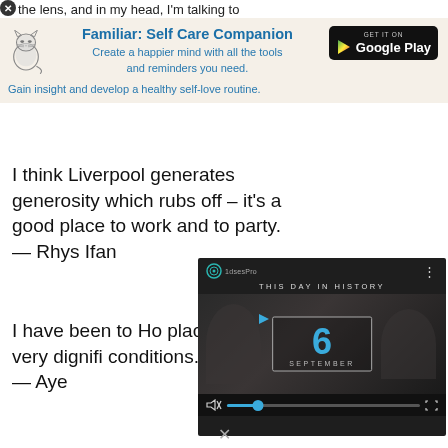the lens, and in my head, I'm talking to
[Figure (infographic): Advertisement banner for 'Familiar: Self Care Companion' app with cat logo and Google Play button. Title: 'Familiar: Self Care Companion'. Subtitle: 'Create a happier mind with all the tools and reminders you need.' Tagline: 'Gain insight and develop a healthy self-love routine.']
I think Liverpool generates generosity which rubs off – it's a good place to work and to party. — Rhys Ifan
I have been to Ho place, very dignifi conditions. — Aye
[Figure (screenshot): Video player overlay showing 'THIS DAY IN HISTORY' with a large number 6 and text 'SEPTEMBER'. Has play controls including mute icon, progress bar with blue dot, and fullscreen icon.]